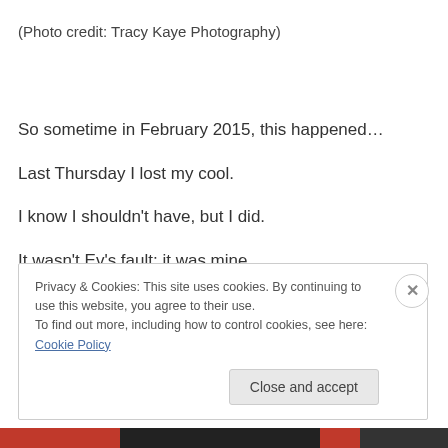(Photo credit: Tracy Kaye Photography)
So sometime in February 2015, this happened…
Last Thursday I lost my cool.
I know I shouldn't have, but I did.
It wasn't Ev's fault; it was mine.
Privacy & Cookies: This site uses cookies. By continuing to use this website, you agree to their use.
To find out more, including how to control cookies, see here: Cookie Policy
Close and accept